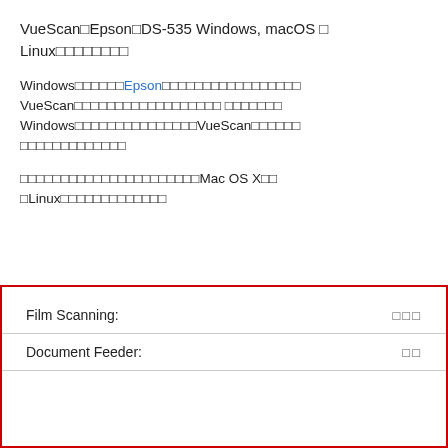VueScan Epson DS-535 Windows, macOS  Linux
Windows  Epson  VueScan   Windows  VueScan
Mac OS X  Linux
| Film Scanning: |  |
| Document Feeder: |  |